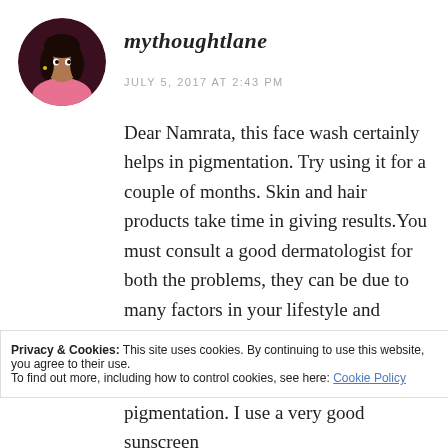[Figure (photo): Circular avatar photo of a woman in a pink outfit]
mythoughtlane
JULY 5, 2017 AT 2:43 PM
Dear Namrata, this face wash certainly helps in pigmentation. Try using it for a couple of months. Skin and hair products take time in giving results.You must consult a good dermatologist for both the problems, they can be due to many factors in your lifestyle and sometimes genetic. I can suggest one thing straightaway and
Privacy & Cookies: This site uses cookies. By continuing to use this website, you agree to their use.
To find out more, including how to control cookies, see here: Cookie Policy
Close and accept
pigmentation. I use a very good sunscreen